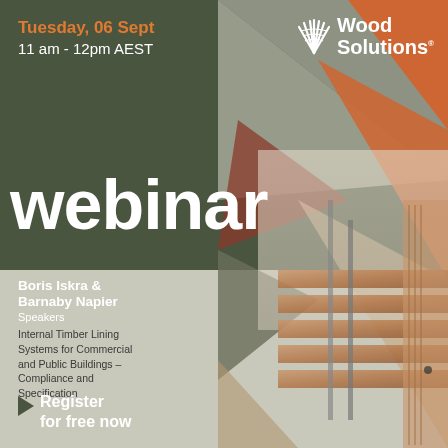Tuesday, 06 Sept
11 am - 12pm AEST
[Figure (logo): WoodSolutions logo with fan/leaf graphic and white text]
webinar
[Figure (photo): Geometric triangular pattern overlay with architectural interior photo showing timber staircase and wood paneling]
Boris Iskra &
Barnaby Napier
Speakers
Internal Timber Lining Systems for Commercial and Public Buildings – Compliance and Specification
Register for free now